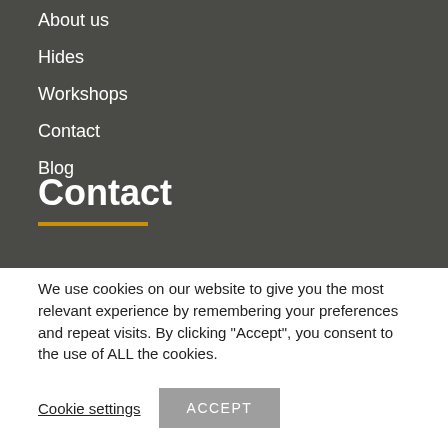About us
Hides
Workshops
Contact
Blog
Contact
We use cookies on our website to give you the most relevant experience by remembering your preferences and repeat visits. By clicking "Accept", you consent to the use of ALL the cookies.
Cookie settings   ACCEPT